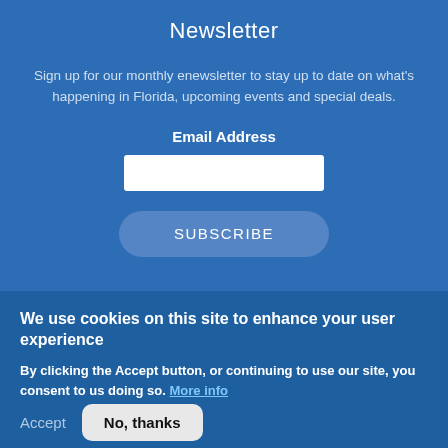Newsletter
Sign up for our monthly enewsletter to stay up to date on what's happening in Florida, upcoming events and special deals.
Email Address
SUBSCRIBE
We use cookies on this site to enhance your user experience
By clicking the Accept button, or continuing to use our site, you consent to us doing so. More info
Accept
No, thanks